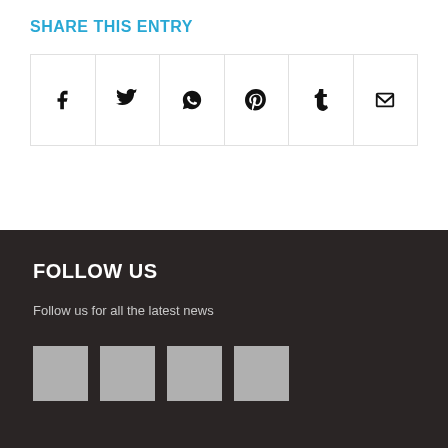SHARE THIS ENTRY
[Figure (infographic): Six social media share icon buttons in a row: Facebook (f), Twitter (bird), WhatsApp (phone), Pinterest (P), Tumblr (t), Email (envelope)]
FOLLOW US
Follow us for all the latest news
[Figure (infographic): Four grey square social media icon placeholders in a row]